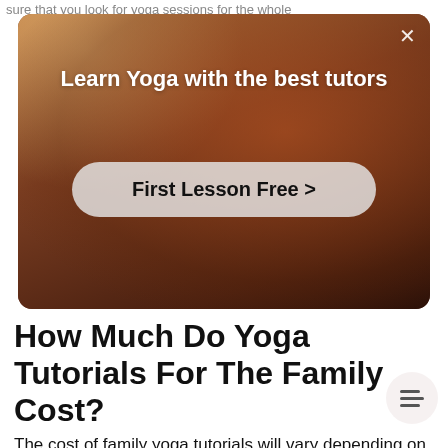sure that you look for yoga sessions for the whole
[Figure (photo): Advertisement banner showing a person doing yoga with warm amber/brown tones. Contains text 'Learn Yoga with the best tutors' and a 'First Lesson Free >' button. An X close button is in the top right corner.]
How Much Do Yoga Tutorials For The Family Cost?
The cost of family yoga tutorials will vary depending on how many of you there are. Most of the time, a yoga tutor will charge you less if you book more sessions at once or a session for more you. For example, if a private yoga session for one cost $70 per session for a private session at $40, it h